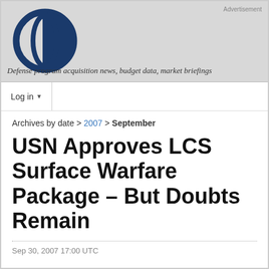[Figure (logo): Circular logo with a vertical oval outline and a dark blue vertical stripe on the right half, representing a website/publication mark]
Advertisement
Defense program acquisition news, budget data, market briefings
Log in
Archives by date > 2007 > September
USN Approves LCS Surface Warfare Package – But Doubts Remain
Sep 30, 2007 17:00 UTC